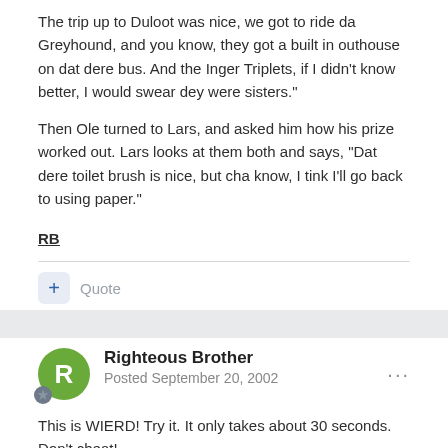The trip up to Duloot was nice, we got to ride da Greyhound, and you know, they got a built in outhouse on dat dere bus. And the Inger Triplets, if I didn't know better, I would swear dey were sisters."
Then Ole turned to Lars, and asked him how his prize worked out. Lars looks at them both and says, "Dat dere toilet brush is nice, but cha know, I tink I'll go back to using paper."
RB
+ Quote
Righteous Brother
Posted September 20, 2002
This is WIERD! Try it. It only takes about 30 seconds. Don't cheat!
Think of a letter between A and W.